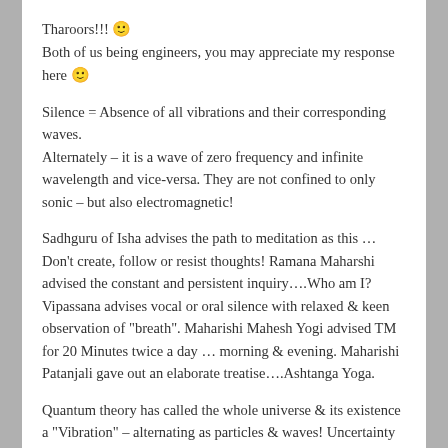Tharoors!!! 🙂 Both of us being engineers, you may appreciate my response here 🙂
Silence = Absence of all vibrations and their corresponding waves.
Alternately – it is a wave of zero frequency and infinite wavelength and vice-versa. They are not confined to only sonic – but also electromagnetic!
Sadhguru of Isha advises the path to meditation as this … Don't create, follow or resist thoughts! Ramana Maharshi advised the constant and persistent inquiry….Who am I? Vipassana advises vocal or oral silence with relaxed & keen observation of "breath". Maharishi Mahesh Yogi advised TM for 20 Minutes twice a day … morning & evening. Maharishi Patanjali gave out an elaborate treatise….Ashtanga Yoga.
Quantum theory has called the whole universe & its existence a "Vibration" – alternating as particles & waves! Uncertainty theory of physics says – 2 events cannot co-